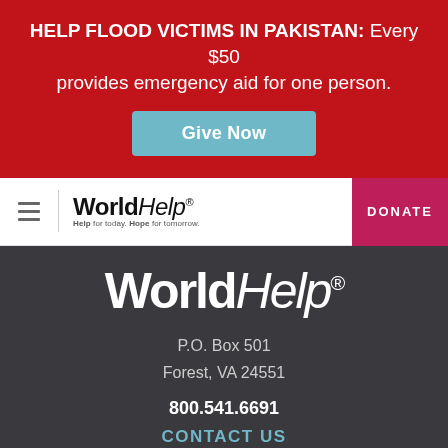HELP FLOOD VICTIMS IN PAKISTAN: Every $50 provides emergency aid for one person.
Give Now
[Figure (logo): World Help logo with tagline: Help for today. Hope for tomorrow.]
DONATE
[Figure (logo): World Help large footer logo]
P.O. Box 501
Forest, VA 24551
800.541.6691
CONTACT US
[Figure (infographic): Social media icons: Facebook, Twitter, Instagram]